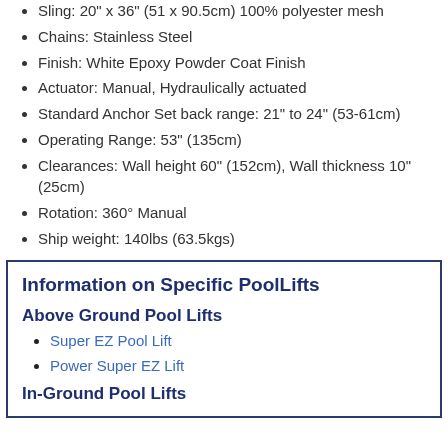Sling: 20" x 36" (51 x 90.5cm) 100% polyester mesh
Chains: Stainless Steel
Finish: White Epoxy Powder Coat Finish
Actuator: Manual, Hydraulically actuated
Standard Anchor Set back range: 21" to 24" (53-61cm)
Operating Range: 53" (135cm)
Clearances: Wall height 60" (152cm), Wall thickness 10" (25cm)
Rotation: 360° Manual
Ship weight: 140lbs (63.5kgs)
Information on Specific PoolLifts
Above Ground Pool Lifts
Super EZ Pool Lift
Power Super EZ Lift
In-Ground Pool Lifts